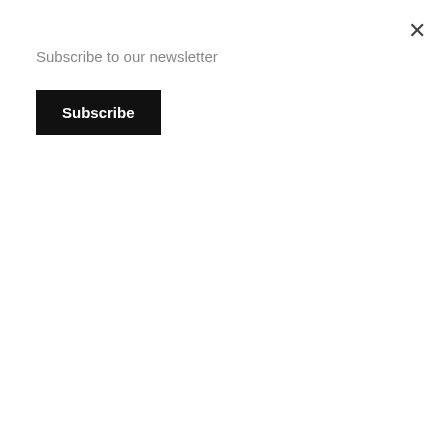Subscribe to our newsletter
Subscribe
remind others of exactly what we’re fighting to protect.
Send us a photo of the tree you want to include, as well as information about the county in which it is located and a short description or story about why the tree is significant to you, your family, or your community. Stories will be posted on a rolling basis on the POWHR blog and Facebook page.
Please send submissions to coordinator.powhr@gmail.com.